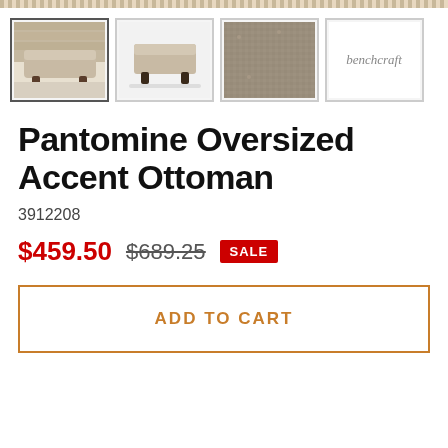[Figure (photo): Top decorative pattern stripe]
[Figure (photo): Four product thumbnail images of Pantomine Oversized Accent Ottoman: main photo, side photo, fabric closeup, and Benchcraft brand logo]
Pantomine Oversized Accent Ottoman
3912208
$459.50  $689.25  SALE
ADD TO CART